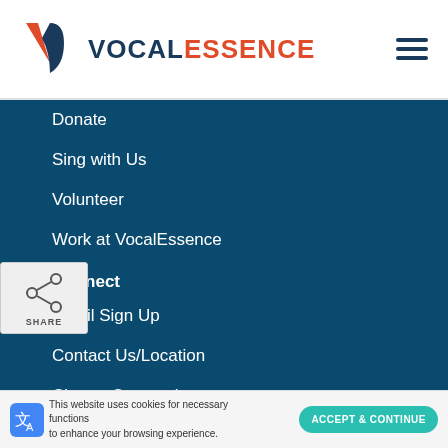VOCALESSENCE
Donate
Sing with Us
Volunteer
Work at VocalEssence
Connect
Email Sign Up
Contact Us/Location
Chorus Connection
VocalEssence Board Login
VocalEssence
1900 Nicollet Avenue, Minneapolis, MN 55403
Phone: 612-547-1451
This website uses cookies for necessary functions to enhance your browsing experience.